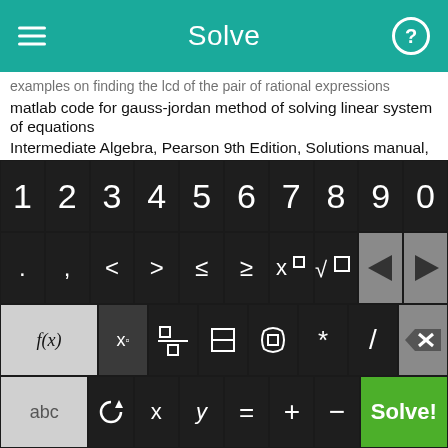Solve
examples on finding the lcd of the pair of rational expressions
matlab code for gauss-jordan method of solving linear system of equations
Intermediate Algebra, Pearson 9th Edition, Solutions manual, Lial, Hornsby,McGinnis
taking square root of trinomial
nth degree calculator online
college algebra for dummies
adding terms that have the same variable to the same power
Solving Radicals in Algebra 1
Free Algebra Equation Solver
[Figure (screenshot): Calculator keyboard with digit row (1-9,0), symbol row (. , < > ≤ ≥ x□ √□ ← →), function row (f(x) x□ fraction |□| (□) * / backspace), and bottom row (abc ↺ x y = + - Solve!)]